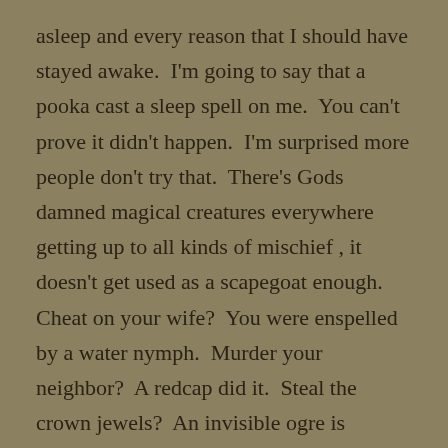asleep and every reason that I should have stayed awake.  I'm going to say that a pooka cast a sleep spell on me.  You can't prove it didn't happen.  I'm surprised more people don't try that.  There's Gods damned magical creatures everywhere getting up to all kinds of mischief , it doesn't get used as a scapegoat enough.  Cheat on your wife?  You were enspelled by a water nymph.  Murder your neighbor?  A redcap did it.  Steal the crown jewels?  An invisible ogre is framing you.
I bring up this sleeping scenario to set the scene for waking up and seeing Big Ears grinning at me in the early morning light backed up by his merry band of skulking deserters.  Four of them had bows at the ready, not drawn of course – who'd want to hold that – and prepared to demolish Martialla where she lay sleeping